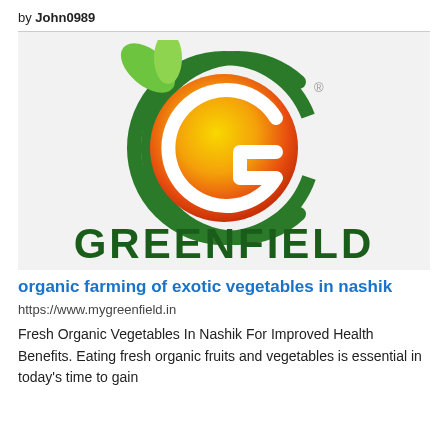by John0989
[Figure (logo): Greenfield logo: a green circular letter G with yellow-to-red gradient circle inside and green leaves, with 'GREENFIELD' in bold dark green letters below]
organic farming of exotic vegetables in nashik
https://www.mygreenfield.in
Fresh Organic Vegetables In Nashik For Improved Health Benefits. Eating fresh organic fruits and vegetables is essential in today's time to gain